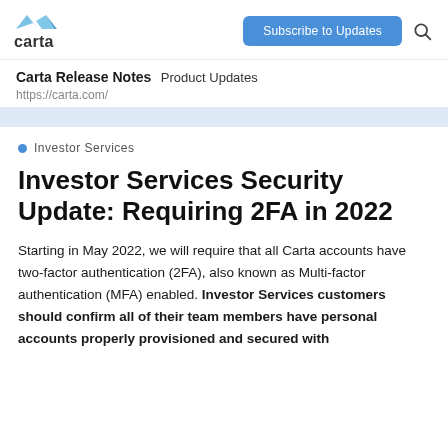Carta | Subscribe to Updates
Carta Release Notes  Product Updates
https://carta.com/
Investor Services
Investor Services Security Update: Requiring 2FA in 2022
Starting in May 2022, we will require that all Carta accounts have two-factor authentication (2FA), also known as Multi-factor authentication (MFA) enabled. Investor Services customers should confirm all of their team members have personal accounts properly provisioned and secured with